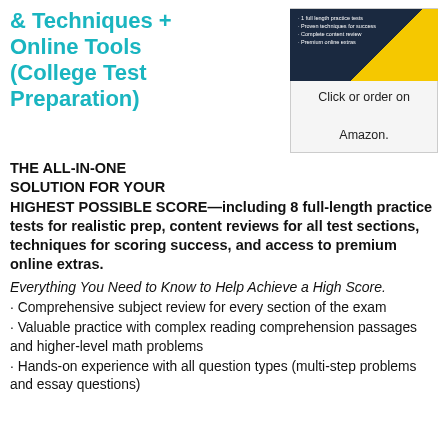& Techniques + Online Tools (College Test Preparation)
[Figure (illustration): Book cover with dark navy and yellow design, showing bullet points about full-length practice tests, proven techniques, complete content review, and premium online extras. Below it text says 'Click or order on Amazon.']
THE ALL-IN-ONE SOLUTION FOR YOUR HIGHEST POSSIBLE SCORE—including 8 full-length practice tests for realistic prep, content reviews for all test sections, techniques for scoring success, and access to premium online extras.
Everything You Need to Know to Help Achieve a High Score.
· Comprehensive subject review for every section of the exam
· Valuable practice with complex reading comprehension passages and higher-level math problems
· Hands-on experience with all question types (multi-step problems and essay questions)